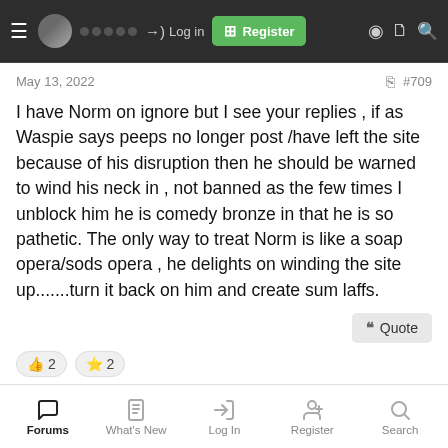☰  Log in  Register
May 13, 2022  #709
I have Norm on ignore but I see your replies , if as Waspie says peeps no longer post /have left the site because of his disruption then he should be warned to wind his neck in , not banned as the few times I unblock him he is comedy bronze in that he is so pathetic. The only way to treat Norm is like a soap opera/sods opera , he delights on winding the site up.......turn it back on him and create sum laffs.
Quote
👍 2  ⭐ 2
Forums  What's New  Log In  Register  Search